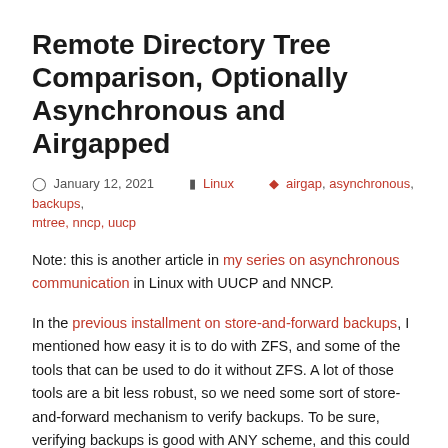Remote Directory Tree Comparison, Optionally Asynchronous and Airgapped
January 12, 2021   Linux   airgap, asynchronous, backups, mtree, nncp, uucp
Note: this is another article in my series on asynchronous communication in Linux with UUCP and NNCP.
In the previous installment on store-and-forward backups, I mentioned how easy it is to do with ZFS, and some of the tools that can be used to do it without ZFS. A lot of those tools are a bit less robust, so we need some sort of store-and-forward mechanism to verify backups. To be sure, verifying backups is good with ANY scheme, and this could be used with ZFS backups also.